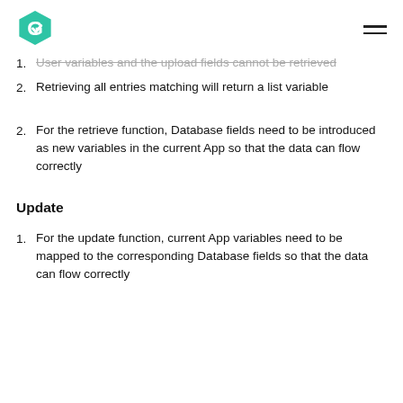Logo and navigation
1. User variables and the upload fields cannot be retrieved
2. Retrieving all entries matching will return a list variable
2. For the retrieve function, Database fields need to be introduced as new variables in the current App so that the data can flow correctly
Update
1. For the update function, current App variables need to be mapped to the corresponding Database fields so that the data can flow correctly